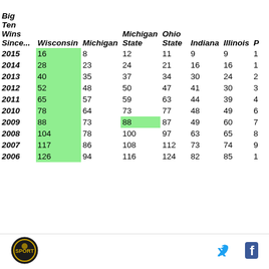| Big Ten Wins Since... | Wisconsin | Michigan | Michigan State | Ohio State | Indiana | Illinois | P... |
| --- | --- | --- | --- | --- | --- | --- | --- |
| 2015 | 16 | 8 | 12 | 11 | 9 | 9 | 1... |
| 2014 | 28 | 23 | 24 | 21 | 16 | 16 | 1... |
| 2013 | 40 | 35 | 37 | 34 | 30 | 24 | 2... |
| 2012 | 52 | 48 | 50 | 47 | 41 | 30 | 3... |
| 2011 | 65 | 57 | 59 | 63 | 44 | 39 | 4... |
| 2010 | 78 | 64 | 73 | 77 | 48 | 49 | 6... |
| 2009 | 88 | 73 | 88 | 87 | 49 | 60 | 7... |
| 2008 | 104 | 78 | 100 | 97 | 63 | 65 | 8... |
| 2007 | 117 | 86 | 108 | 112 | 73 | 74 | 9... |
| 2006 | 126 | 94 | 116 | 124 | 82 | 85 | 1... |
[Figure (logo): Circular sports logo/badge in footer]
[Figure (other): Twitter bird icon in footer]
[Figure (other): Facebook f icon in footer]